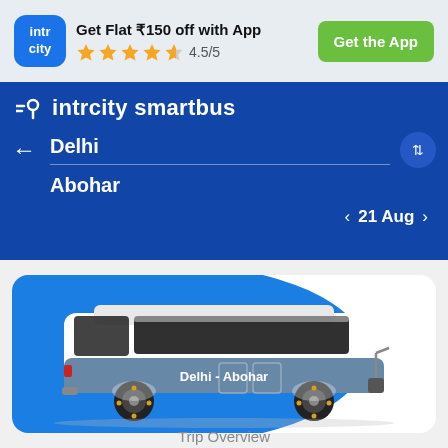[Figure (screenshot): IntrCity Smartbus app promotional banner with logo, offer text, star rating, and Get the App button]
Get Flat ₹150 off with App
4.5/5
Get the App
intrcity smartbus
Delhi
Abohar
21 Aug
[Figure (illustration): Illustrated blue and white intercity bus with 'Delhi - Abohar' text on its side, set against a blue circular background within a white card]
Trip Overview